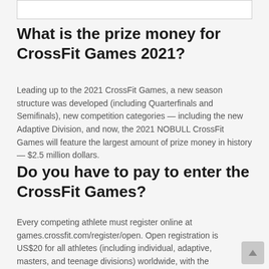[Figure (other): Empty white box with border at top of page]
What is the prize money for CrossFit Games 2021?
Leading up to the 2021 CrossFit Games, a new season structure was developed (including Quarterfinals and Semifinals), new competition categories — including the new Adaptive Division, and now, the 2021 NOBULL CrossFit Games will feature the largest amount of prize money in history — $2.5 million dollars.
Do you have to pay to enter the CrossFit Games?
Every competing athlete must register online at games.crossfit.com/register/open. Open registration is US$20 for all athletes (including individual, adaptive, masters, and teenage divisions) worldwide, with the exception of athletes in Latin America and Africa, where registration is US$15.